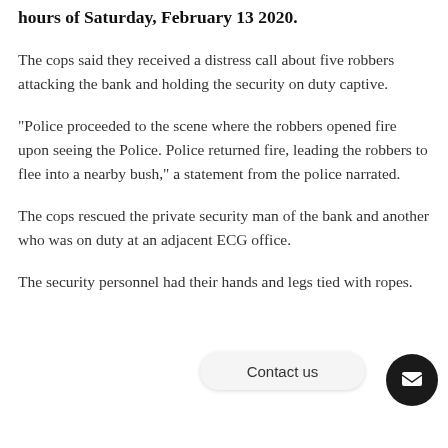hours of Saturday, February 13 2020.
The cops said they received a distress call about five robbers attacking the bank and holding the security on duty captive.
"Police proceeded to the scene where the robbers opened fire upon seeing the Police. Police returned fire, leading the robbers to flee into a nearby bush," a statement from the police narrated.
The cops rescued the private security man of the bank and another who was on duty at an adjacent ECG office.
The security personnel had their hands and legs tied with ropes.